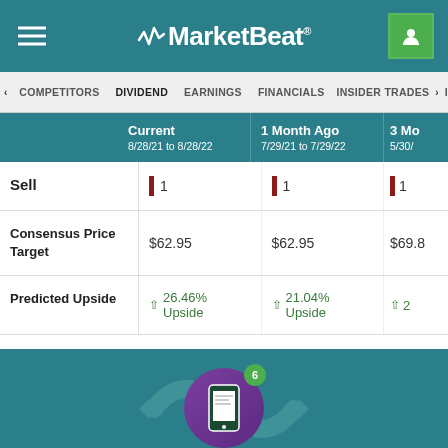MarketBeat
COMPETITORS | DIVIDEND | EARNINGS | FINANCIALS | INSIDER TRADES
|  | Current 8/28/21 to 8/28/22 | 1 Month Ago 7/29/21 to 7/29/22 | 3 Mo 5/30/... |
| --- | --- | --- | --- |
| Sell | 1 | 1 | 1 |
| Consensus Price Target | $62.95 | $62.95 | $69.8... |
| Predicted Upside | 26.46% Upside | 21.04% Upside | 2... |
[Figure (illustration): Phone icon with notification badge showing '6' and document notification graphic, with circular arrows in background, teal background]
Get Citigroup Upgrade and